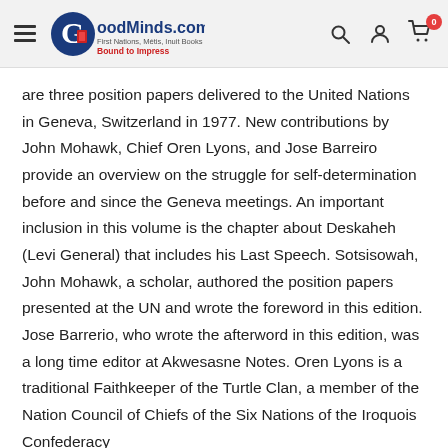GoodMinds.com — First Nations, Métis, Inuit Books. Bound to Impress.
are three position papers delivered to the United Nations in Geneva, Switzerland in 1977. New contributions by John Mohawk, Chief Oren Lyons, and Jose Barreiro provide an overview on the struggle for self-determination before and since the Geneva meetings. An important inclusion in this volume is the chapter about Deskaheh (Levi General) that includes his Last Speech. Sotsisowah, John Mohawk, a scholar, authored the position papers presented at the UN and wrote the foreword in this edition. Jose Barrerio, who wrote the afterword in this edition, was a long time editor at Akwesasne Notes. Oren Lyons is a traditional Faithkeeper of the Turtle Clan, a member of the Nation Council of Chiefs of the Six Nations of the Iroquois Confederacy